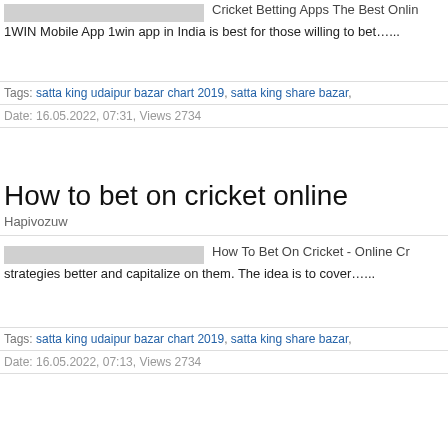[Figure (screenshot): Thumbnail image placeholder (gray rectangle) next to text: 'Cricket Betting Apps The Best Onlin']
1WIN Mobile App 1win app in India is best for those willing to bet…...
Tags: satta king udaipur bazar chart 2019, satta king share bazar,
Date: 16.05.2022, 07:31, Views 2734
How to bet on cricket online
Hapivozuw
[Figure (screenshot): Thumbnail image placeholder (gray rectangle) next to text: 'How To Bet On Cricket - Online Cr']
strategies better and capitalize on them. The idea is to cover…...
Tags: satta king udaipur bazar chart 2019, satta king share bazar,
Date: 16.05.2022, 07:13, Views 2734